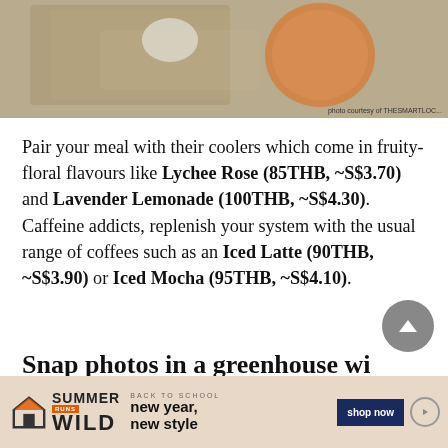[Figure (photo): Photo of drinks/food on a wooden tray, partially cropped at top]
Pair your meal with their coolers which come in fruity-floral flavours like Lychee Rose (85THB, ~S$3.70) and Lavender Lemonade (100THB, ~S$4.30). Caffeine addicts, replenish your system with the usual range of coffees such as an Iced Latte (90THB, ~S$3.90) or Iced Mocha (95THB, ~S$4.10).
Snap photos in a greenhouse wi...
[Figure (infographic): Advertisement banner: Summer Wild - Back to School, new year, new style, shop now]